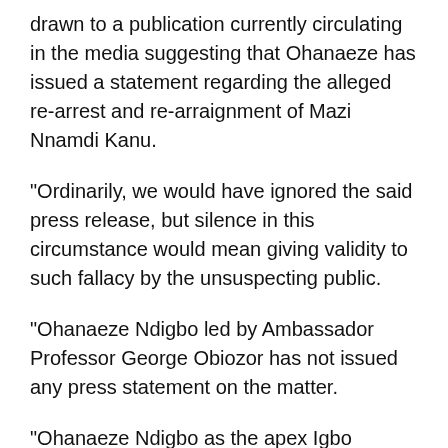drawn to a publication currently circulating in the media suggesting that Ohanaeze has issued a statement regarding the alleged re-arrest and re-arraignment of Mazi Nnamdi Kanu.
“Ordinarily, we would have ignored the said press release, but silence in this circumstance would mean giving validity to such fallacy by the unsuspecting public.
“Ohanaeze Ndigbo led by Ambassador Professor George Obiozor has not issued any press statement on the matter.
“Ohanaeze Ndigbo as the apex Igbo cultural organisation does not issue public statements in a hurry,” he said.